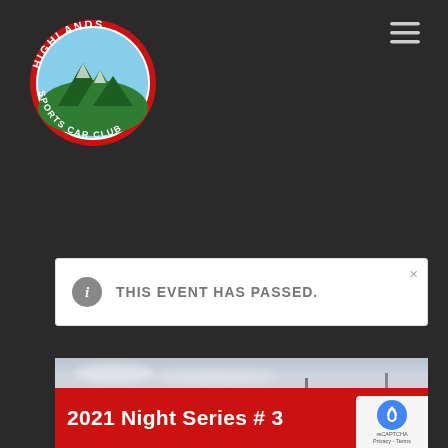[Figure (logo): Highlands Sports Car Club circular logo with red border, mountains and sky, text reading HIGHLANDS SPORTS CAR CLUB]
[Figure (other): Hamburger menu icon (three horizontal lines) in top right corner]
THIS EVENT HAS PASSED.
[Figure (photo): Twilight sky with clouds and light poles, with a red bar overlay at the bottom]
2021 Night Series # 3